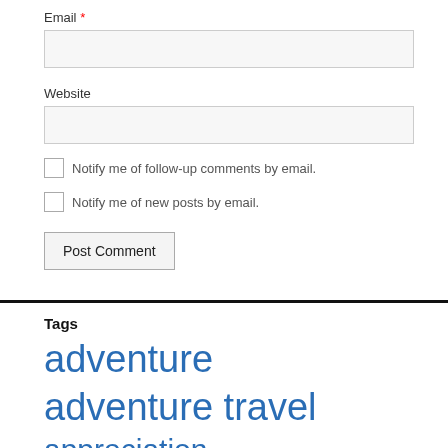Email *
Website
Notify me of follow-up comments by email.
Notify me of new posts by email.
Post Comment
Tags
adventure adventure travel appreciation Athens Australia Baku Bangkok BMW F650 Cambodia Central Asia China curiosity discovery emotional